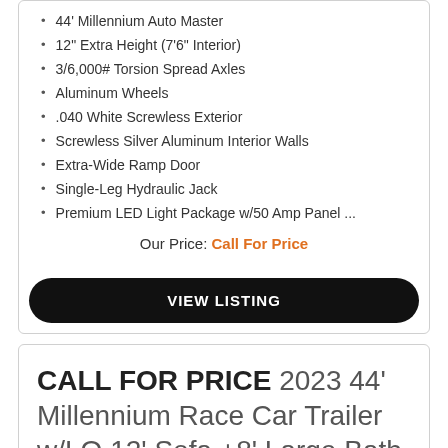44' Millennium Auto Master
12" Extra Height (7'6" Interior)
3/6,000# Torsion Spread Axles
Aluminum Wheels
.040 White Screwless Exterior
Screwless Silver Aluminum Interior Walls
Extra-Wide Ramp Door
Single-Leg Hydraulic Jack
Premium LED Light Package w/50 Amp Panel ...
Our Price: Call For Price
VIEW LISTING
CALL FOR PRICE 2023 44' Millennium Race Car Trailer w/LQ 12' Sofa +8' Large Bath w/Corner Shower